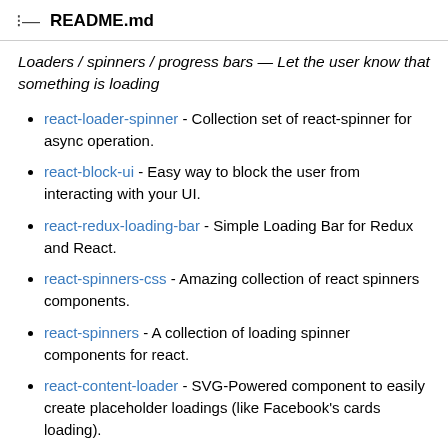README.md
Loaders / spinners / progress bars — Let the user know that something is loading
react-loader-spinner - Collection set of react-spinner for async operation.
react-block-ui - Easy way to block the user from interacting with your UI.
react-redux-loading-bar - Simple Loading Bar for Redux and React.
react-spinners-css - Amazing collection of react spinners components.
react-spinners - A collection of loading spinner components for react.
react-content-loader - SVG-Powered component to easily create placeholder loadings (like Facebook's cards loading).